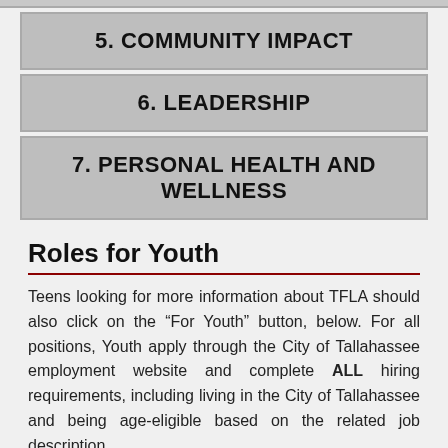5. COMMUNITY IMPACT
6. LEADERSHIP
7. PERSONAL HEALTH AND WELLNESS
Roles for Youth
Teens looking for more information about TFLA should also click on the “For Youth” button, below. For all positions, Youth apply through the City of Tallahassee employment website and complete ALL hiring requirements, including living in the City of Tallahassee and being age-eligible based on the related job description.
TFLA Youth Ambassadors